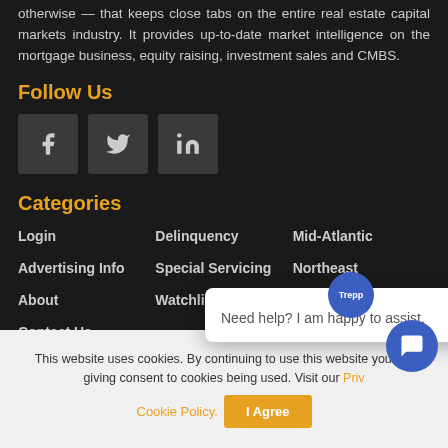otherwise — that keeps close tabs on the entire real estate capital markets industry. It provides up-to-date market intelligence on the mortgage business, equity raising, investment sales and CMBS.
Follow Us
[Figure (other): Social media icons: Facebook (f), Twitter (bird), LinkedIn (in) in dark gray square boxes]
Categories
Login
Delinquency
Mid-Atlantic
Advertising Info
Special Servicing
Northeast
About
Watchlist
Midwest
Contact Us
Terms
[Figure (other): Chat popup overlay with Trepp badge and message: Need help? I am happy to assist.]
This website uses cookies. By continuing to use this website you are giving consent to cookies being used. Visit our Priv Cookie Policy. I Agree